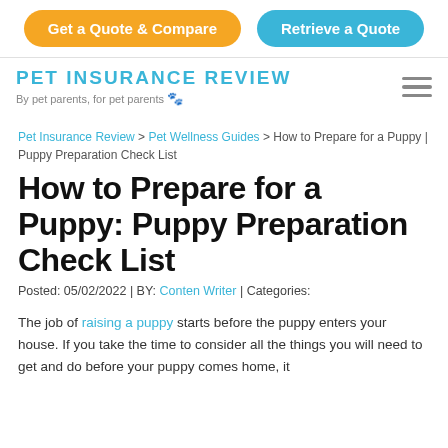Get a Quote & Compare | Retrieve a Quote
PET INSURANCE REVIEW
By pet parents, for pet parents 🐾
Pet Insurance Review > Pet Wellness Guides > How to Prepare for a Puppy | Puppy Preparation Check List
How to Prepare for a Puppy: Puppy Preparation Check List
Posted: 05/02/2022 | BY: Conten Writer | Categories:
The job of raising a puppy starts before the puppy enters your house. If you take the time to consider all the things you will need to get and do before your puppy comes home, it